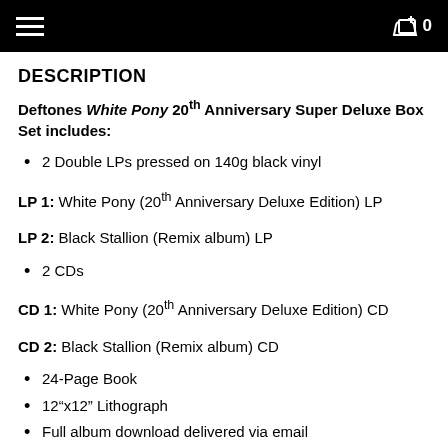≡  🛒 0
DESCRIPTION
Deftones White Pony 20th Anniversary Super Deluxe Box Set includes:
2 Double LPs pressed on 140g black vinyl
LP 1: White Pony (20th Anniversary Deluxe Edition) LP
LP 2: Black Stallion (Remix album) LP
2 CDs
CD 1: White Pony (20th Anniversary Deluxe Edition) CD
CD 2: Black Stallion (Remix album) CD
24-Page Book
12"x12" Lithograph
Full album download delivered via email